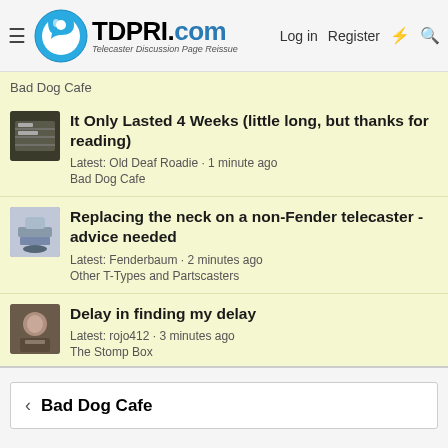TDPRI.com — Log in  Register
Bad Dog Cafe
It Only Lasted 4 Weeks (little long, but thanks for reading)
Latest: Old Deaf Roadie · 1 minute ago
Bad Dog Cafe
Replacing the neck on a non-Fender telecaster - advice needed
Latest: Fenderbaum · 2 minutes ago
Other T-Types and Partscasters
Delay in finding my delay
Latest: rojo412 · 3 minutes ago
The Stomp Box
Bad Dog Cafe